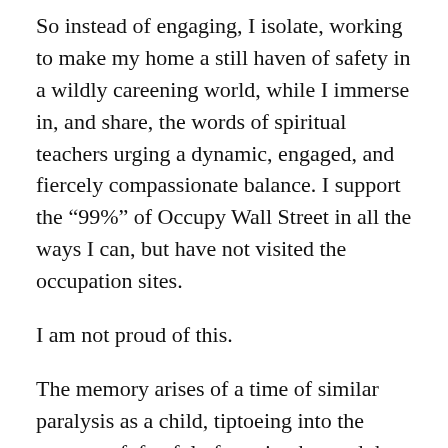So instead of engaging, I isolate, working to make my home a still haven of safety in a wildly careening world, while I immerse in, and share, the words of spiritual teachers urging a dynamic, engaged, and fiercely compassionate balance. I support the “99%” of Occupy Wall Street in all the ways I can, but have not visited the occupation sites.
I am not proud of this.
The memory arises of a time of similar paralysis as a child, tiptoeing into the ocean surf, fearful of moving beyond the painful  line of sharp shells, stones and sea glass to engage in the duck and dive of the deeper water, unwilling to